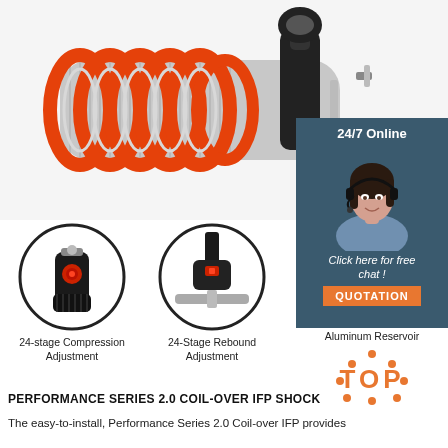[Figure (photo): Close-up photo of a red coil-over IFP shock absorber with orange/red spring coils and silver threaded body, black shaft visible]
[Figure (photo): 24/7 online chat panel with woman wearing headset and blue shirt, text says 24/7 Online, Click here for free chat!, QUOTATION button]
[Figure (photo): Circular close-up of compression adjustment knob on shock absorber - 24-stage Compression Adjustment]
[Figure (photo): Circular close-up of rebound adjustment on shock absorber - 24-Stage Rebound Adjustment]
[Figure (photo): Circle showing aluminum reservoir detail - Aluminum Reservoir]
[Figure (infographic): TOP badge with orange dots and orange bold text TOP]
PERFORMANCE SERIES 2.0 COIL-OVER IFP SHOCK
The easy-to-install, Performance Series 2.0 Coil-over IFP provides